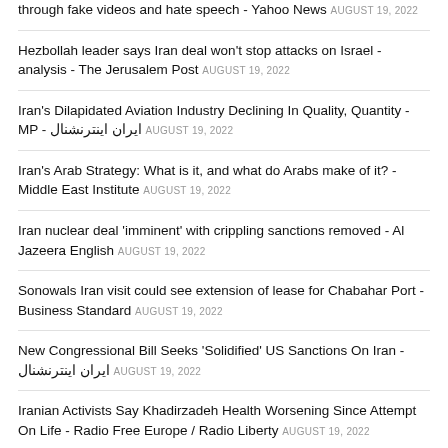through fake videos and hate speech - Yahoo News AUGUST 19, 2022
Hezbollah leader says Iran deal won't stop attacks on Israel - analysis - The Jerusalem Post AUGUST 19, 2022
Iran's Dilapidated Aviation Industry Declining In Quality, Quantity - MP - ایران اینترنشنال AUGUST 19, 2022
Iran's Arab Strategy: What is it, and what do Arabs make of it? - Middle East Institute AUGUST 19, 2022
Iran nuclear deal 'imminent' with crippling sanctions removed - Al Jazeera English AUGUST 19, 2022
Sonowals Iran visit could see extension of lease for Chabahar Port - Business Standard AUGUST 19, 2022
New Congressional Bill Seeks 'Solidified' US Sanctions On Iran - ایران اینترنشنال AUGUST 19, 2022
Iranian Activists Say Khadirzadeh Health Worsening Since Attempt On Life - Radio Free Europe / Radio Liberty AUGUST 19, 2022
Iran 'using all its power' to free pilgrim held by Saudis - The New